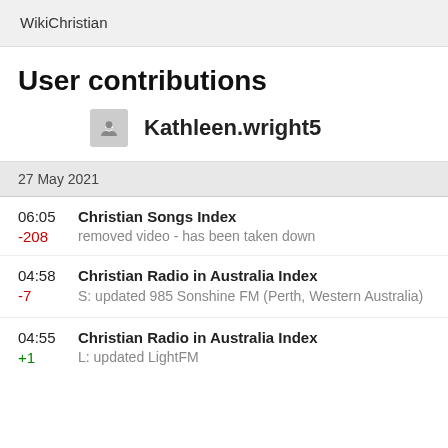WikiChristian
User contributions
Kathleen.wright5
27 May 2021
06:05 Christian Songs Index
-208 removed video - has been taken down
04:58 Christian Radio in Australia Index
-7 S: updated 985 Sonshine FM (Perth, Western Australia)
04:55 Christian Radio in Australia Index
+1 L: updated LightFM